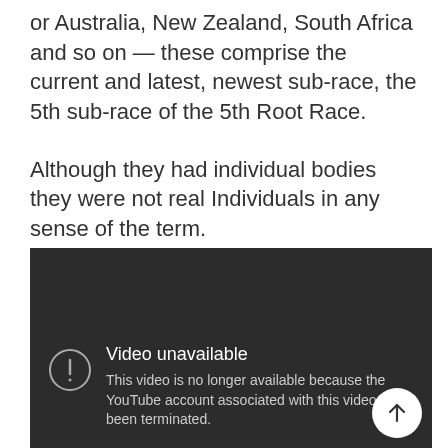or Australia, New Zealand, South Africa and so on — these comprise the current and latest, newest sub-race, the 5th sub-race of the 5th Root Race.
Although they had individual bodies they were not real Individuals in any sense of the term.
[Figure (screenshot): Embedded YouTube video player showing 'Video unavailable' message: 'This video is no longer available because the YouTube account associated with this video has been terminated.' Dark background with exclamation circle icon and a white scroll-up button in the bottom right.]